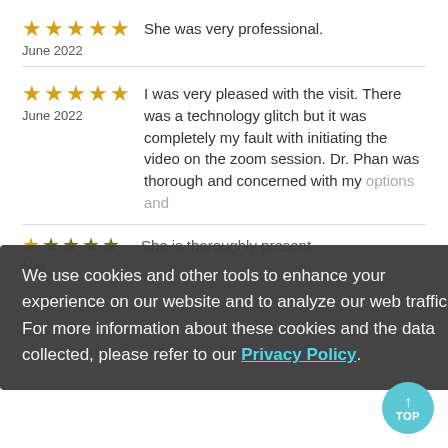★★★★★ June 2022 — She was very professional.
★★★★★ June 2022 — I was very pleased with the visit. There was a technology glitch but it was completely my fault with initiating the video on the zoom session. Dr. Phan was thorough and concerned with my [options and] [went through] smoothly.
★ (partial) May — She is thoroughly present
We use cookies and other tools to enhance your experience on our website and to analyze our web traffic. For more information about these cookies and the data collected, please refer to our Privacy Policy.